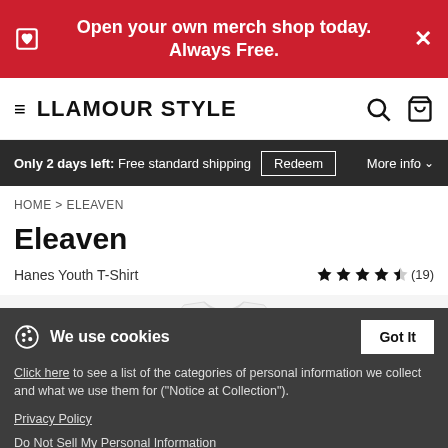Open your own merch shop today. Always Free.
LLAMOUR STYLE
Only 2 days left: Free standard shipping  Redeem  More info
HOME > ELEAVEN
Eleaven
Hanes Youth T-Shirt  ★★★★½ (19)
[Figure (photo): White youth t-shirt product photo, partially visible]
We use cookies
Click here to see a list of the categories of personal information we collect and what we use them for ("Notice at Collection").
Privacy Policy
Do Not Sell My Personal Information
By using this website, I agree to the Terms and Conditions